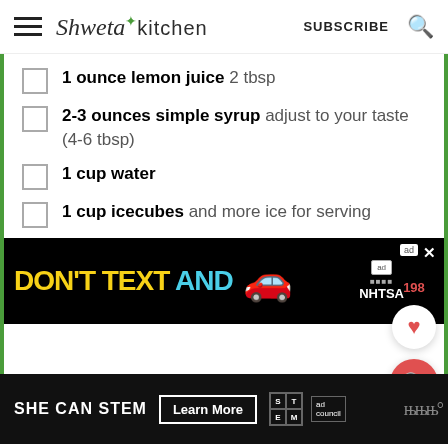Shweta in Kitchen — SUBSCRIBE
1 ounce lemon juice 2 tbsp
2-3 ounces simple syrup adjust to your taste (4-6 tbsp)
1 cup water
1 cup icecubes and more ice for serving
[Figure (other): Advertisement banner: DON'T TEXT AND [car emoji] NHTSA ad with yellow and cyan text on black background]
[Figure (other): Advertisement banner: SHE CAN STEM Learn More — STEM ad council on dark background]